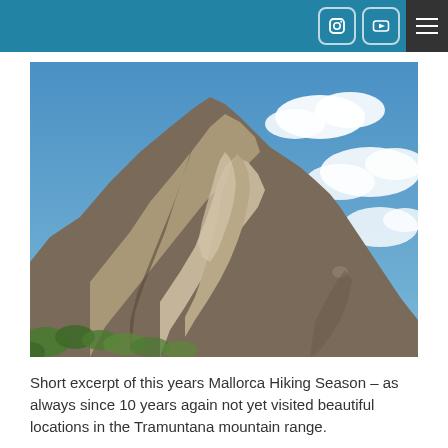[Figure (photo): Rocky mountain peaks with rugged limestone cliffs rising against a bright blue sky with scattered white clouds. Green vegetation visible at the base of the rocks. This is a scene from the Tramuntana mountain range in Mallorca.]
Short excerpt of this years Mallorca Hiking Season – as always since 10 years again not yet visited beautiful locations in the Tramuntana mountain range.